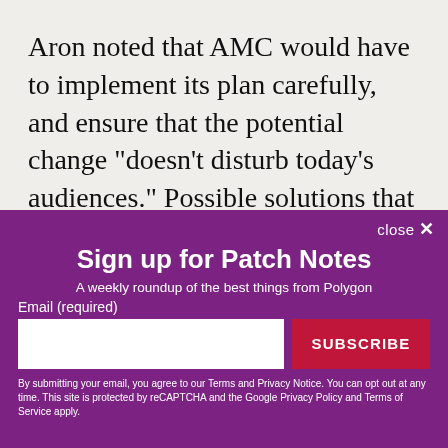Aron noted that AMC would have to implement its plan carefully, and ensure that the potential change "doesn't disturb today's audiences." Possible solutions that AMC was considering included revamping theaters to make them more texting-friendly, or
close ✕
Sign up for Patch Notes
A weekly roundup of the best things from Polygon
Email (required)
SUBSCRIBE
By submitting your email, you agree to our Terms and Privacy Notice. You can opt out at any time. This site is protected by reCAPTCHA and the Google Privacy Policy and Terms of Service apply.